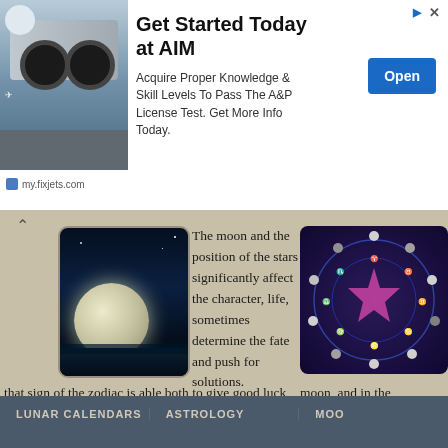[Figure (screenshot): Advertisement banner: airplane landing gear photo on left, 'Get Started Today at AIM' heading, text about A&P License Test, Open button, my.fixjets.com source]
The moon and the position of the stars significantly affect the character, life, sometimes determine the fate and push for solutions. Therefore, finding the moon in this or that sign of the zodiac is able both to give good luck and happiness, and bring troubles and bitterness. To protect yourself and loved ones and avoid disagreements at work and in your personal life, watch the stars and control your destiny!
moon, and in the change is connected depending on the Earth and the Moon's surface in changes.
[Figure (photo): Moon over water at night — glowing full moon with dark silhouette of trees and reflective water]
[Figure (illustration): Astrology wheel with zodiac symbols around a circle, moon phases around the outer edge, purple/blue background with pink star in center]
go →
LUNAR CALENDARS   ASTROLOGY   MOO...